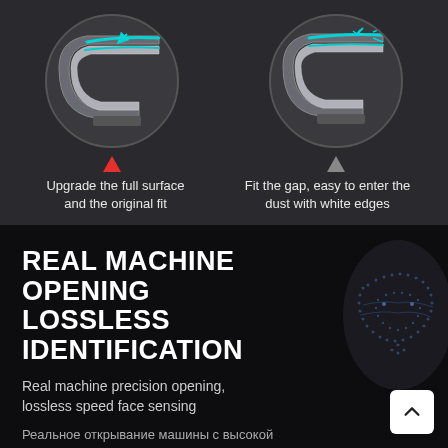[Figure (illustration): Two circular diagrams side by side on dark background. Left circle shows a curved blade/edge with cyan/teal highlight lines and a small arrow pointing inward, indicating full surface fit. Right circle shows similar curved blade with cyan lines and arrow indicating gap. Red upward triangle under left circle, gray upward triangle under right circle.]
Upgrade the full surface and the original fit
Fit the gap, easy to enter the dust with white edges
REAL MACHINE OPENING LOSSLESS IDENTIFICATION
Real machine precision opening, lossless speed face sensing
Реальное открывание машины с высокой точностью, без потерь скорости